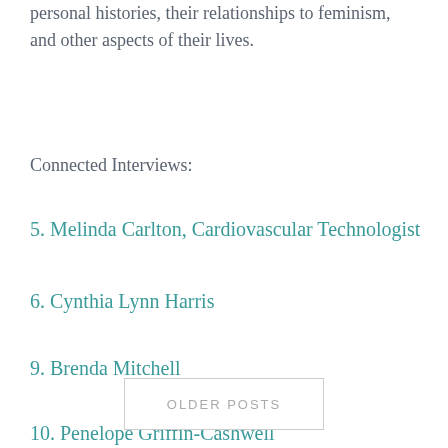personal histories, their relationships to feminism, and other aspects of their lives.
Connected Interviews:
5. Melinda Carlton, Cardiovascular Technologist
6. Cynthia Lynn Harris
9. Brenda Mitchell
10. Penelope Griffin-Cashwell
OLDER POSTS